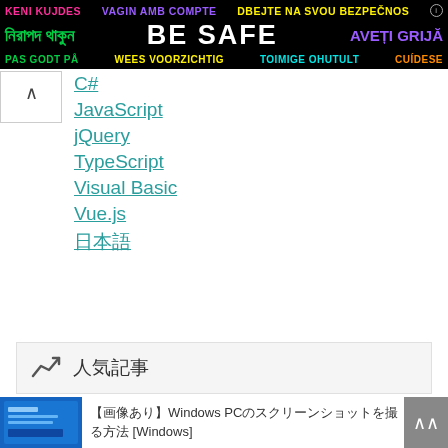[Figure (other): Multilingual safety banner with text in multiple languages and colors on black background. Row 1: 'KENI KUJDES' (pink), 'VAGIN AMB COMPTE' (purple), 'DBEJTE NA SVOU BEZPEČNOST' (yellow) with info icon. Row 2: Bengali text (green), 'BE SAFE' (white bold), 'AVEȚI GRIJĂ' (purple). Row 3: 'PAS GODT PÅ' (green), 'WEES VOORZICHTIG' (yellow), 'TOIMIGE OHUTULT' (cyan), 'CUÍDESE' (orange).]
C#
JavaScript
jQuery
TypeScript
Visual Basic
Vue.js
日本語
📈 人気記事
【画像あり】Windows PCのスクリーンショットを撮る方法 [Windows]